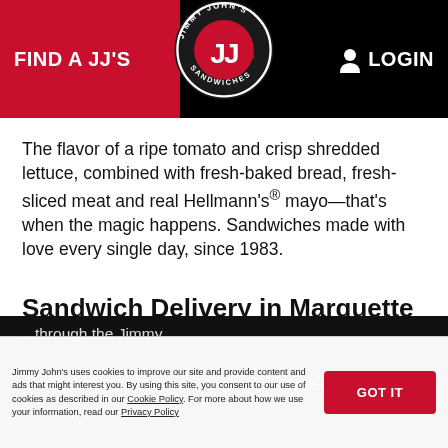FIND A JJ'S   [logo]   LOGIN
The flavor of a ripe tomato and crisp shredded lettuce, combined with fresh-baked bread, fresh-sliced meat and real Hellmann's® mayo—that's when the magic happens. Sandwiches made with love every single day, since 1983.
Sandwich Delivery in Marquette for Lunch or Dinner
If you need sandwich delivery, your Marquette Jimmy John's has you covered. We'll even deliver one sandwich.
Jimmy John's uses cookies to improve our site and provide content and ads that might interest you. By using this site, you consent to our use of cookies as described in our Cookie Policy. For more about how we use your information, read our Privacy Policy.
GOT IT